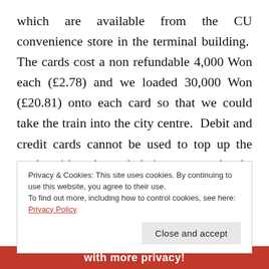which are available from the CU convenience store in the terminal building. The cards cost a non refundable 4,000 Won each (£2.78) and we loaded 30,000 Won (£20.81) onto each card so that we could take the train into the city centre. Debit and credit cards cannot be used to top up the cards with only cash being accepted. As well as being more convenient than buying individual tickets, T Money cards offer a 10% discount on regular fares and free transfers between trains and buses within 30
Privacy & Cookies: This site uses cookies. By continuing to use this website, you agree to their use.
To find out more, including how to control cookies, see here: Privacy Policy
Close and accept
with more privacy!